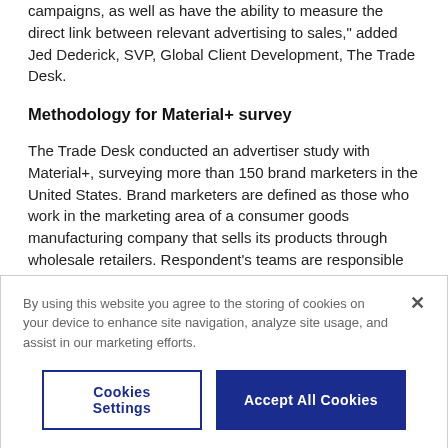campaigns, as well as have the ability to measure the direct link between relevant advertising to sales," added Jed Dederick, SVP, Global Client Development, The Trade Desk.
Methodology for Material+ survey
The Trade Desk conducted an advertiser study with Material+, surveying more than 150 brand marketers in the United States. Brand marketers are defined as those who work in the marketing area of a consumer goods manufacturing company that sells its products through wholesale retailers. Respondent's teams are responsible for brand (e.g. digital marketing, CRM
By using this website you agree to the storing of cookies on your device to enhance site navigation, analyze site usage, and assist in our marketing efforts.
Cookies Settings
Accept All Cookies